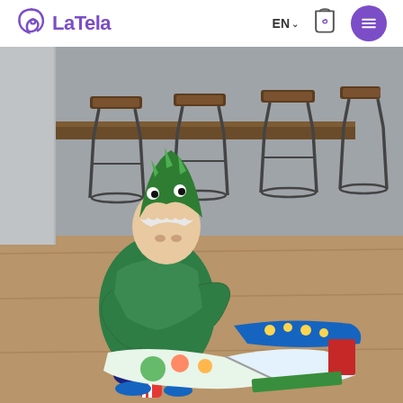[Figure (logo): LaTela brand logo with swirl icon and purple text]
EN ∨
[Figure (illustration): Shopping bag icon with LaTela swirl logo]
[Figure (illustration): Purple circular hamburger menu button]
[Figure (photo): Young child wearing a green dinosaur hoodie with eyes on hood, sitting on a hardwood floor reading a colorful illustrated book (appears to be a Disney/Pooh book), with additional books nearby including a blue one with golden illustrations. Background shows industrial-style metal bar stools with wooden seats against a grey wall.]